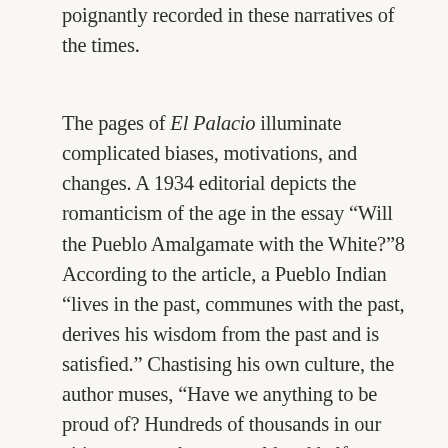poignantly recorded in these narratives of the times.
The pages of El Palacio illuminate complicated biases, motivations, and changes. A 1934 editorial depicts the romanticism of the age in the essay “Will the Pueblo Amalgamate with the White?”8 According to the article, a Pueblo Indian “lives in the past, communes with the past, derives his wisdom from the past and is satisfied.” Chastising his own culture, the author muses, “Have we anything to be proud of? Hundreds of thousands in our cities must go hungry, cold and half-clothed—or accept public charity; while thousands of others have more money than they can possibly spend. Does this indicate a high general